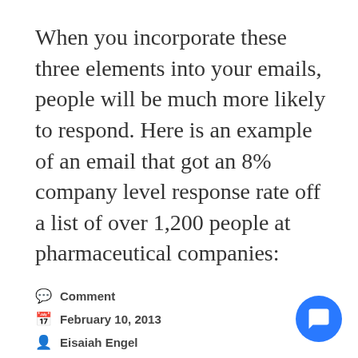When you incorporate these three elements into your emails, people will be much more likely to respond. Here is an example of an email that got an 8% company level response rate off a list of over 1,200 people at pharmaceutical companies:
Continue reading →
Comment
February 10, 2013
Eisaiah Engel